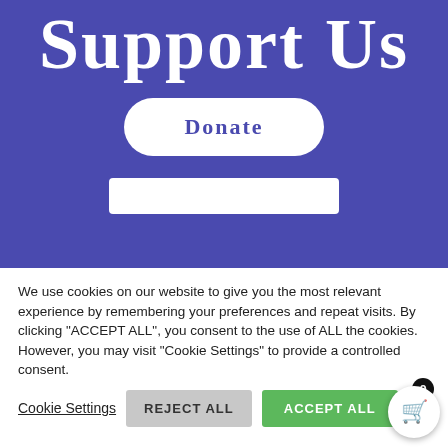Support Us
DONATE
We use cookies on our website to give you the most relevant experience by remembering your preferences and repeat visits. By clicking "ACCEPT ALL", you consent to the use of ALL the cookies. However, you may visit "Cookie Settings" to provide a controlled consent.
Cookie Settings
REJECT ALL
ACCEPT ALL